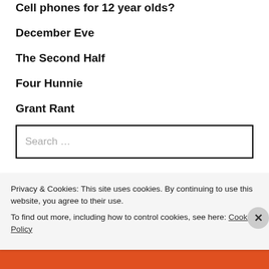Cell phones for 12 year olds?
December Eve
The Second Half
Four Hunnie
Grant Rant
Search ...
Search
Privacy & Cookies: This site uses cookies. By continuing to use this website, you agree to their use.
To find out more, including how to control cookies, see here: Cookie Policy
Close and accept